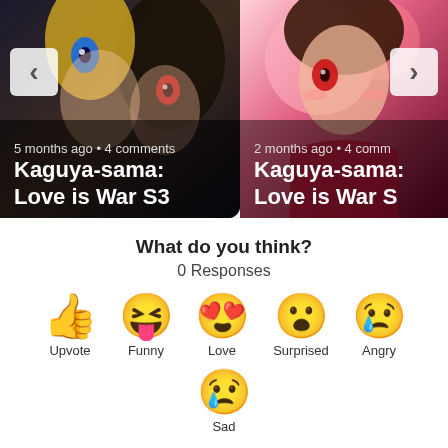[Figure (screenshot): Two anime character cards side by side. Left card shows 'Kaguya-sama: Love is War S3' with '5 months ago • 4 comments' and a left navigation arrow. Right card shows 'Kaguya-sama: Love is War S' (truncated) with '2 months ago • 4 comm' (truncated) and a right navigation arrow.]
What do you think?
0 Responses
[Figure (infographic): Reaction emoji row: Upvote (thumbs up), Funny (laughing face with tongue), Love (heart eyes), Surprised (wide-eyed face), Angry (crying/angry face). Second row: Sad (crying face).]